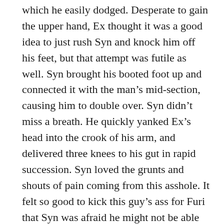which he easily dodged. Desperate to gain the upper hand, Ex thought it was a good idea to just rush Syn and knock him off his feet, but that attempt was futile as well. Syn brought his booted foot up and connected it with the man's mid-section, causing him to double over. Syn didn't miss a breath. He quickly yanked Ex's head into the crook of his arm, and delivered three knees to his gut in rapid succession. Syn loved the grunts and shouts of pain coming from this asshole. It felt so good to kick this guy's ass for Furi that Syn was afraid he might not be able to stop.
Ex crumpled like a piece of paper, going down on both knees, but Syn wasn't ready for it to be over. He looked the man in the eye, cocked his right hand back again and sent a crucial punch dead center in that pretty face, fairly sure that he knocked a couple of teeth loose and permanently re-structured his nose. Ex